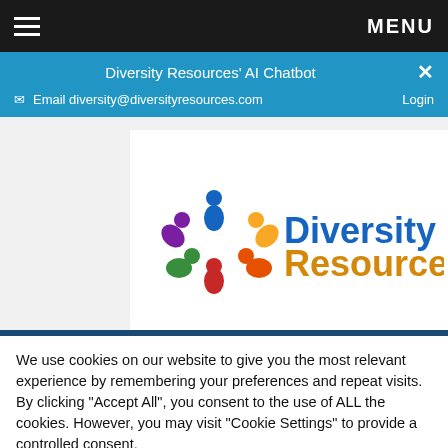MENU
Diversity Resources' AI Chatbot
Email diversity@diversityresources.com   Login
[Figure (logo): Diversity Resources logo with colorful circular icon and 'DiversityResources' text in blue and gold]
We use cookies on our website to give you the most relevant experience by remembering your preferences and repeat visits. By clicking "Accept All", you consent to the use of ALL the cookies. However, you may visit "Cookie Settings" to provide a controlled consent.
Cookie Settings   Accept All